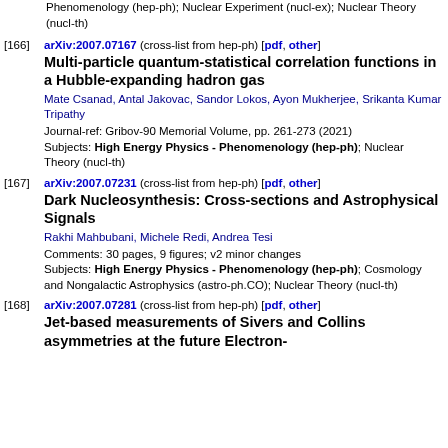Phenomenology (hep-ph); Nuclear Experiment (nucl-ex); Nuclear Theory (nucl-th)
[166] arXiv:2007.07167 (cross-list from hep-ph) [pdf, other]
Multi-particle quantum-statistical correlation functions in a Hubble-expanding hadron gas
Mate Csanad, Antal Jakovac, Sandor Lokos, Ayon Mukherjee, Srikanta Kumar Tripathy
Journal-ref: Gribov-90 Memorial Volume, pp. 261-273 (2021)
Subjects: High Energy Physics - Phenomenology (hep-ph); Nuclear Theory (nucl-th)
[167] arXiv:2007.07231 (cross-list from hep-ph) [pdf, other]
Dark Nucleosynthesis: Cross-sections and Astrophysical Signals
Rakhi Mahbubani, Michele Redi, Andrea Tesi
Comments: 30 pages, 9 figures; v2 minor changes
Subjects: High Energy Physics - Phenomenology (hep-ph); Cosmology and Nongalactic Astrophysics (astro-ph.CO); Nuclear Theory (nucl-th)
[168] arXiv:2007.07281 (cross-list from hep-ph) [pdf, other]
Jet-based measurements of Sivers and Collins asymmetries at the future Electron-